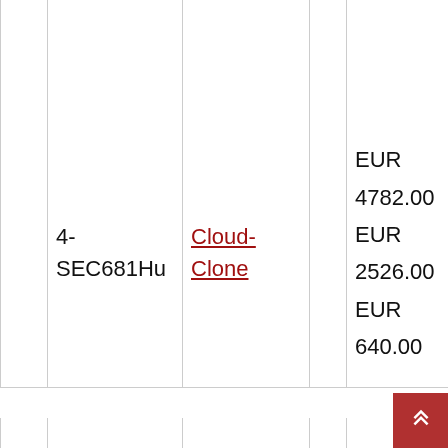|  | 4-SEC681Hu | Cloud-Clone |  | EUR 4782.00 EUR 2526.00 EUR 640.00 | 10 plates of 96 wells 5 plates of 96 wells 1 plate of 96 wells |
| --- | --- | --- | --- | --- | --- |
|  | 4-SEC681Hu | Cloud-Clone |  | EUR 4782.00
EUR 2526.00
EUR 640.00 | 10 plates of 96 wells
5 plates of 96 wells
1 plate of 96 wells |